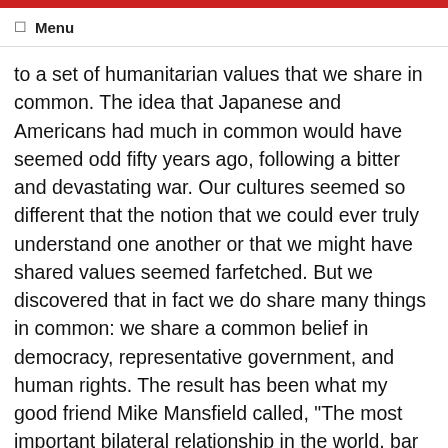☰ Menu
to a set of humanitarian values that we share in common. The idea that Japanese and Americans had much in common would have seemed odd fifty years ago, following a bitter and devastating war. Our cultures seemed so different that the notion that we could ever truly understand one another or that we might have shared values seemed farfetched. But we discovered that in fact we do share many things in common: we share a common belief in democracy, representative government, and human rights. The result has been what my good friend Mike Mansfield called, "The most important bilateral relationship in the world, bar none." The democratic and humanitarian values we share - the very values that are at the heart of ICU - have led our two countries to become - separately and together - leaders in the effort to improve the lives of those more